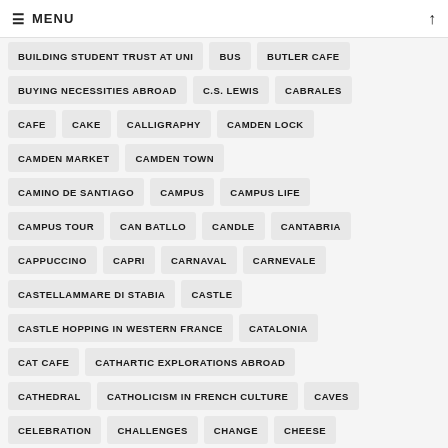MENU
BUILDING STUDENT TRUST AT UNI
BUS
BUTLER CAFE
BUYING NECESSITIES ABROAD
C.S. LEWIS
CABRALES
CAFE
CAKE
CALLIGRAPHY
CAMDEN LOCK
CAMDEN MARKET
CAMDEN TOWN
CAMINO DE SANTIAGO
CAMPUS
CAMPUS LIFE
CAMPUS TOUR
CAN BATLLO
CANDLE
CANTABRIA
CAPPUCCINO
CAPRI
CARNAVAL
CARNEVALE
CASTELLAMMARE DI STABIA
CASTLE
CASTLE HOPPING IN WESTERN FRANCE
CATALONIA
CAT CAFE
CATHARTIC EXPLORATIONS ABROAD
CATHEDRAL
CATHOLICISM IN FRENCH CULTURE
CAVES
CELEBRATION
CHALLENGES
CHANGE
CHEESE
CHERRY
CHERRY BLOSSOM
CHERRY BLOSSOMS
CHILDLIKE WONDER IN TOKYO
CHILEAN ECOLOGY
CHINA